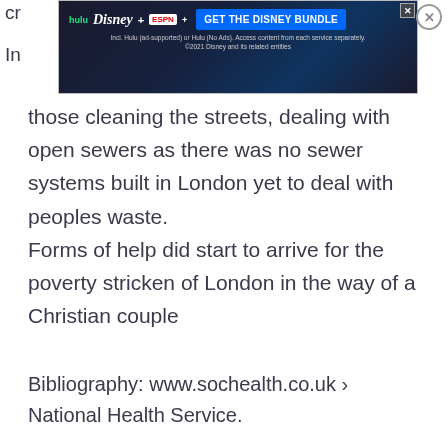[Figure (screenshot): Hulu Disney+ ESPN+ advertisement banner with blue/dark background, showing streaming service logos and 'GET THE DISNEY BUNDLE' call-to-action button, with fine print about Hulu ad-supported plans]
those cleaning the streets, dealing with open sewers as there was no sewer systems built in London yet to deal with peoples waste. Forms of help did start to arrive for the poverty stricken of London in the way of a Christian couple
Bibliography: www.sochealth.co.uk › National Health Service.